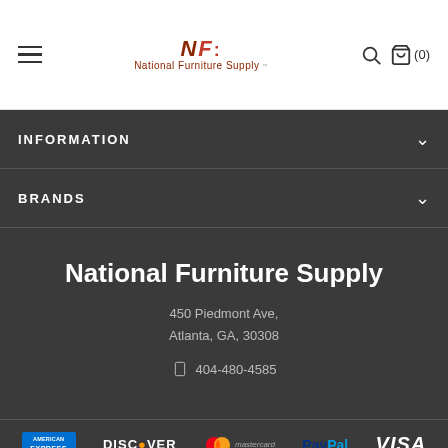National Furniture Supply — navigation header with hamburger menu, logo, search and cart icons
INFORMATION
BRANDS
National Furniture Supply
450 Piedmont Ave,
Atlanta, GA, 30308
404-480-4585
[Figure (logo): Payment method logos: American Express, Discover, Mastercard, PayPal, VISA]